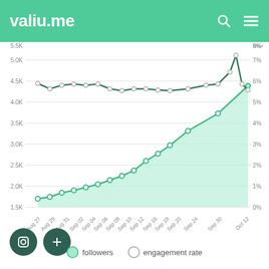valiu.me
[Figure (line-chart): followers and engagement rate over time]
followers  engagement rate